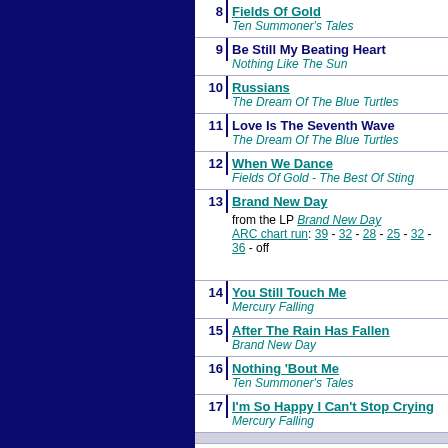8 Fields Of Gold / Ten Summoner's Tales
9 Be Still My Beating Heart / Nothing Like The Sun
10 Russians / The Dream Of The Blue Turtles
11 Love Is The Seventh Wave / The Dream Of The Blue Turtles
12 When We Dance / Fields Of Gold - The Best Of Sting
13 Brand New Day / from the LP Brand New Day / ARC chart run: 39 - 32 - 28 - 25 - 32 - 36 - off
14 You Still Touch Me / Mercury Falling
15 After The Rain Has Fallen / Brand New Day
16 Nothing 'Bout Me / Ten Summoner's Tales
17 I'm So Happy I Can't Stop Crying / Mercury Falling
Englishman In New York / Nothing Like The Sun
Why Should I Cry For You